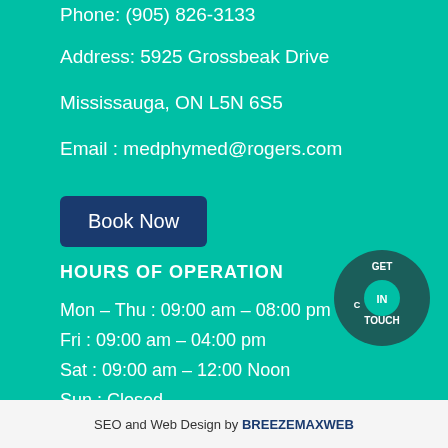Phone: (905) 826-3133
Address: 5925 Grossbeak Drive
Mississauga, ON L5N 6S5
Email : medphymed@rogers.com
Book Now
HOURS OF OPERATION
Mon – Thu : 09:00 am – 08:00 pm
Fri : 09:00 am – 04:00 pm
Sat : 09:00 am – 12:00 Noon
Sun : Closed
[Figure (logo): GET IN TOUCH circular badge with dark teal background]
SEO and Web Design by BREEZEMAXWEB